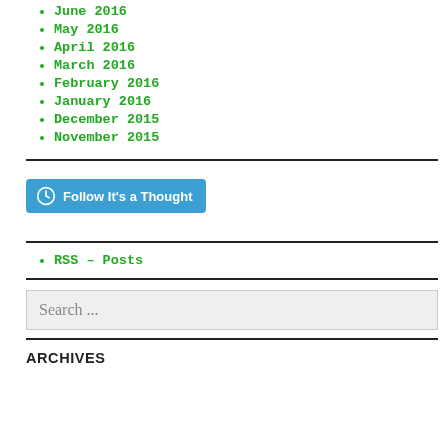June 2016
May 2016
April 2016
March 2016
February 2016
January 2016
December 2015
November 2015
[Figure (other): Follow It's a Thought button (WordPress follow widget)]
RSS – Posts
Search ...
ARCHIVES